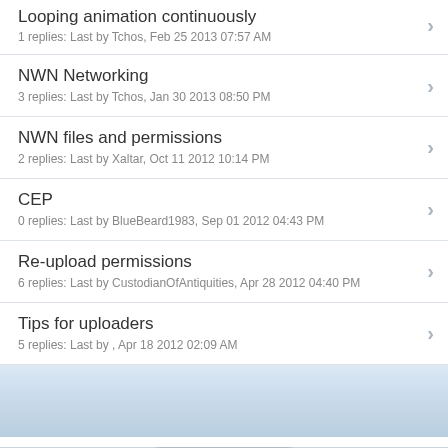Looping animation continuously
1 replies: Last by Tchos, Feb 25 2013 07:57 AM
NWN Networking
3 replies: Last by Tchos, Jan 30 2013 08:50 PM
NWN files and permissions
2 replies: Last by Xaltar, Oct 11 2012 10:14 PM
CEP
0 replies: Last by BlueBeard1983, Sep 01 2012 04:43 PM
Re-upload permissions
6 replies: Last by CustodianOfAntiquities, Apr 28 2012 04:40 PM
Tips for uploaders
5 replies: Last by , Apr 18 2012 02:09 AM
Full Version
Page loaded in: 1.002 seconds